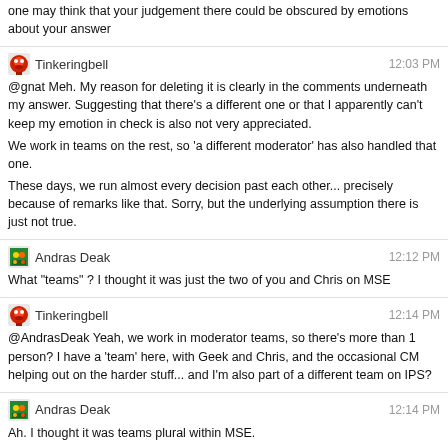one may think that your judgement there could be obscured by emotions about your answer
Tinkeringbell 12:03 PM
@gnat Meh. My reason for deleting it is clearly in the comments underneath my answer. Suggesting that there's a different one or that I apparently can't keep my emotion in check is also not very appreciated.
We work in teams on the rest, so 'a different moderator' has also handled that one.
These days, we run almost every decision past each other... precisely because of remarks like that. Sorry, but the underlying assumption there is just not true.
Andras Deak 12:12 PM
What "teams" ? I thought it was just the two of you and Chris on MSE
Tinkeringbell 12:14 PM
@AndrasDeak Yeah, we work in moderator teams, so there's more than 1 person? I have a 'team' here, with Geek and Chris, and the occasional CM helping out on the harder stuff... and I'm also part of a different team on IPS?
Andras Deak 12:14 PM
Ah. I thought it was teams plural within MSE.
Tinkeringbell 12:15 PM
Oh, sorry.. no... that was a general 'moderators work in teams' remark ;)
Andras Deak 12:16 PM
@JourneymanGeek I think it's fewer pins that people would mind, not more
Journeyman Geek 12:20 PM